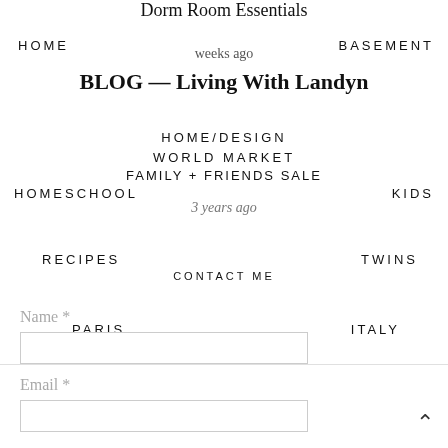Dorm Room Essentials
HOME   BASEMENT
weeks ago
BLOG — Living With Landyn
HOME/DESIGN
WORLD MARKET
FAMILY + FRIENDS SALE
HOMESCHOOL   KIDS
3 years ago
RECIPES   TWINS
CONTACT ME
PARIS   ITALY
Name *
Email *
^